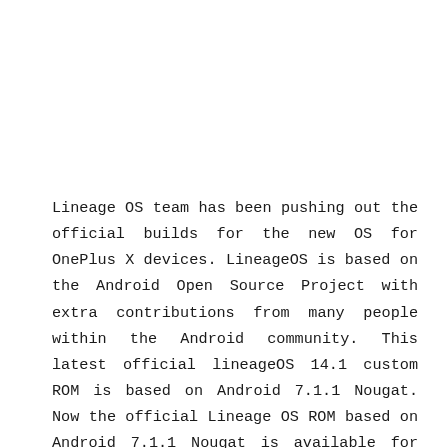Lineage OS team has been pushing out the official builds for the new OS for OnePlus X devices. LineageOS is based on the Android Open Source Project with extra contributions from many people within the Android community. This latest official lineageOS 14.1 custom ROM is based on Android 7.1.1 Nougat. Now the official Lineage OS ROM based on Android 7.1.1 Nougat is available for OnePlus X, so you can flash and test the new Nougat experience on your device. This latest custom firmware is packed with all Android 7.1.1 Nougat features which include many eye-catching features and performance improvements. The official LineageOS